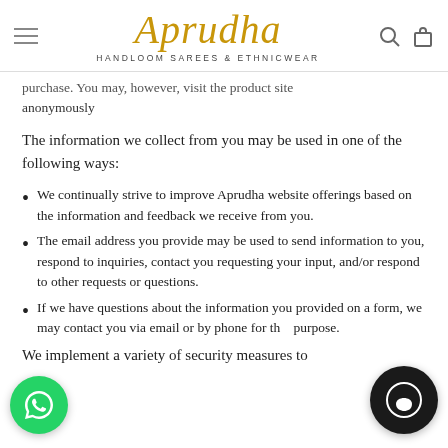Aprudha — HANDLOOM SAREES & ETHNICWEAR
purchase. You may, however, visit the product site anonymously
The information we collect from you may be used in one of the following ways:
We continually strive to improve Aprudha website offerings based on the information and feedback we receive from you.
The email address you provide may be used to send information to you, respond to inquiries, contact you requesting your input, and/or respond to other requests or questions.
If we have questions about the information you provided on a form, we may contact you via email or by phone for that purpose.
We implement a variety of security measures to